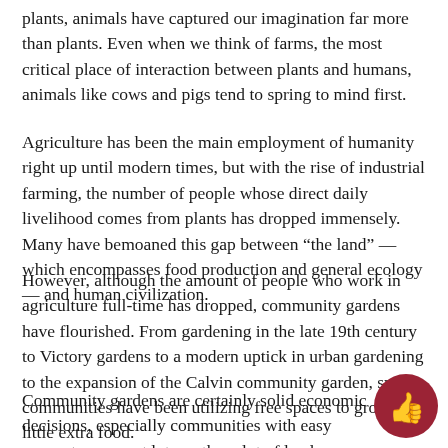plants, animals have captured our imagination far more than plants. Even when we think of farms, the most critical place of interaction between plants and humans, animals like cows and pigs tend to spring to mind first.
Agriculture has been the main employment of humanity right up until modern times, but with the rise of industrial farming, the number of people whose direct daily livelihood comes from plants has dropped immensely. Many have bemoaned this gap between “the land” — which encompasses food production and general ecology — and human civilization.
However, although the amount of people who work in agriculture full-time has dropped, community gardens have flourished. From gardening in the late 19th century to Victory gardens to a modern uptick in urban gardening to the expansion of the Calvin community garden, small communities have been utilizing free spaces to grow a little extra food.
Community gardens are certainly solid economic decisions, especially communities with easy access to a vacant lot or other plot of land,